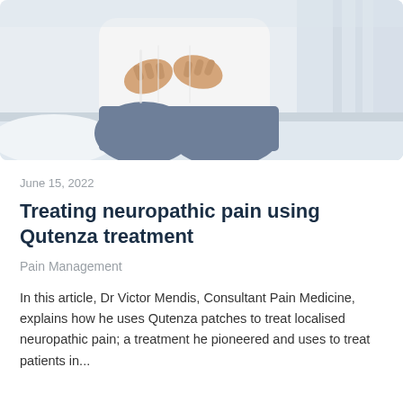[Figure (photo): Person sitting on a bed holding their lower back in pain, wearing a white top and grey/blue pants, with a bright white background and curtains.]
June 15, 2022
Treating neuropathic pain using Qutenza treatment
Pain Management
In this article, Dr Victor Mendis, Consultant Pain Medicine, explains how he uses Qutenza patches to treat localised neuropathic pain; a treatment he pioneered and uses to treat patients in...